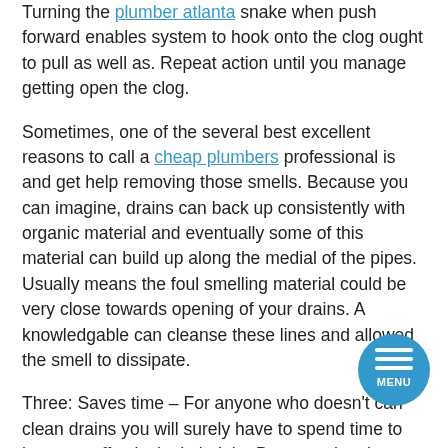Turning the plumber atlanta snake when push forward enables system to hook onto the clog ought to pull as well as. Repeat action until you manage getting open the clog.
Sometimes, one of the several best excellent reasons to call a cheap plumbers professional is and get help removing those smells. Because you can imagine, drains can back up consistently with organic material and eventually some of this material can build up along the medial of the pipes. Usually means the foul smelling material could be very close towards opening of your drains. A knowledgable can cleanse these lines and allowed the smell to dissipate.
Three: Saves time – For anyone who doesn't can clean drains you will surely have to spend time to how you effectively do it right. Because they have do the knowledge needed this isn't something a